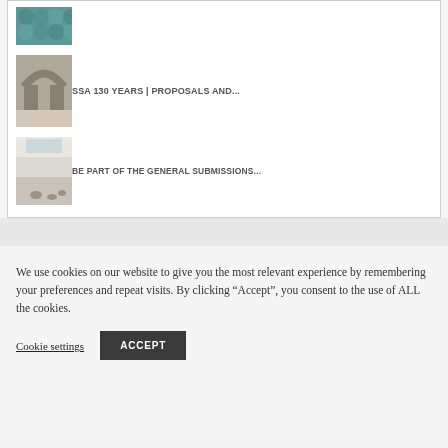[Figure (photo): Thumbnail image of hexagonal metallic/teal pattern]
[Figure (photo): Thumbnail image of sculptural arch installation in gallery]
SSA 130 YEARS | Proposals and...
[Figure (photo): Thumbnail image of white gallery room with artworks on floor]
BE PART OF THE GENERAL SUBMISSIONS...
We use cookies on our website to give you the most relevant experience by remembering your preferences and repeat visits. By clicking “Accept”, you consent to the use of ALL the cookies.
Cookie settings
ACCEPT